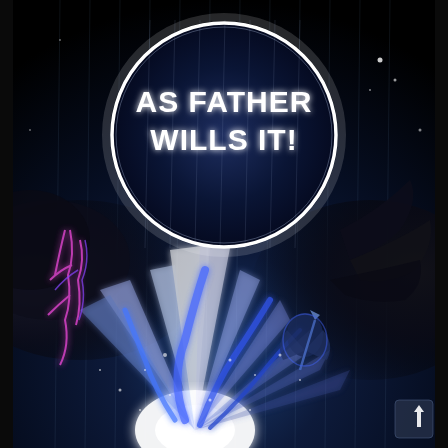[Figure (illustration): Manga/comic page illustration showing a dark cosmic battle scene. A large glowing white circle dominates the upper half containing bold white text 'AS FATHER WILLS IT!'. Below the circle, blue and white energy beams radiate outward from a bright explosion at the bottom center. Pink/magenta lightning arcs on the left side. Black smoke/shadow on the left and dark tentacle-like shadows on the right. A small figure (character) is visible in the lower right area amid blue energy. Dark starry background with rain-like vertical streaks. Small up-arrow navigation button in bottom-right corner.]